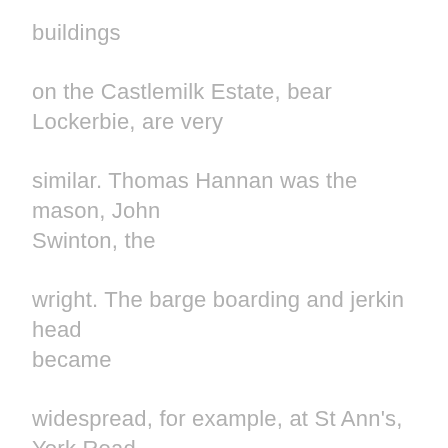buildings

on the Castlemilk Estate, bear Lockerbie, are very

similar. Thomas Hannan was the mason, John Swinton, the

wright. The barge boarding and jerkin head became

widespread, for example, at St Ann's, York Road, North

Berwick and at Belford Road, Edinburgh. Loudon's

COTTAGE, VILLA AND FARM ARCHITECTURE (1835) illustrates

design in same style, figures 850, 2110. The site of the